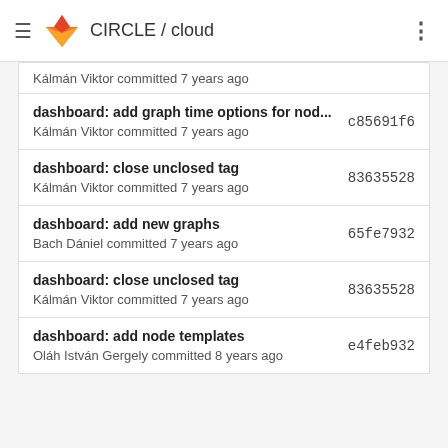CIRCLE / cloud
Kálmán Viktor committed 7 years ago
dashboard: add graph time options for nod...  c85691f6
Kálmán Viktor committed 7 years ago
dashboard: close unclosed tag  83635528
Kálmán Viktor committed 7 years ago
dashboard: add new graphs  65fe7932
Bach Dániel committed 7 years ago
dashboard: close unclosed tag  83635528
Kálmán Viktor committed 7 years ago
dashboard: add node templates  e4feb932
Oláh István Gergely committed 8 years ago